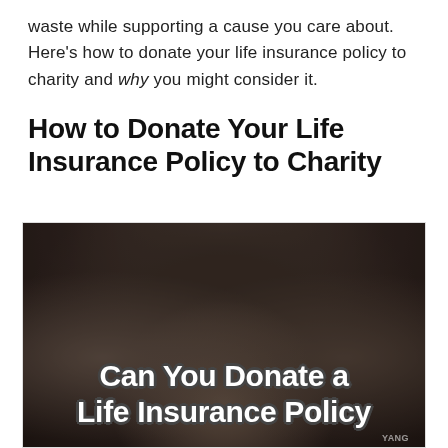waste while supporting a cause you care about. Here's how to donate your life insurance policy to charity and why you might consider it.
How to Donate Your Life Insurance Policy to Charity
[Figure (photo): Hands holding something, with overlaid text reading 'Can You Donate a Life Insurance Policy' in bold white outlined font on a dark background photo.]